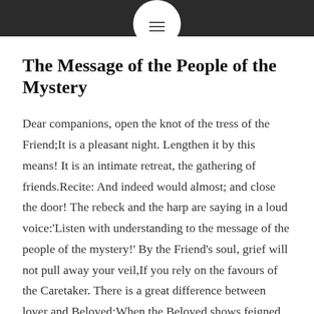The Message of the People of the Mystery
Dear companions, open the knot of the tress of the Friend;It is a pleasant night. Lengthen it by this means! It is an intimate retreat, the gathering of friends.Recite: And indeed would almost; and close the door! The rebeck and the harp are saying in a loud voice:'Listen with understanding to the message of the people of the mystery!' By the Friend's soul, grief will not pull away your veil,If you rely on the favours of the Caretaker. There is a great difference between lover and Beloved:When the Beloved shows feigned disdain, you make supplication. The first advice of the pîr of the assembly is this:'Avoid the company of wrong friends!' For everyone who is not alive by love in...